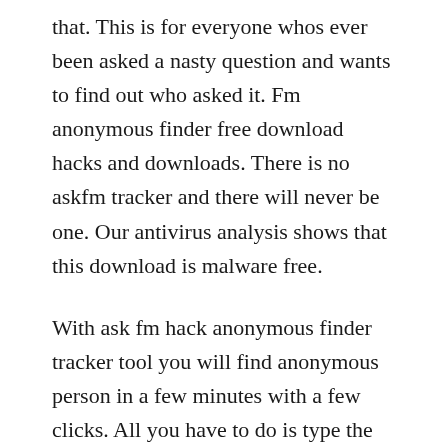that. This is for everyone whos ever been asked a nasty question and wants to find out who asked it. Fm anonymous finder free download hacks and downloads. There is no askfm tracker and there will never be one. Our antivirus analysis shows that this download is malware free.
With ask fm hack anonymous finder tracker tool you will find anonymous person in a few minutes with a few clicks. All you have to do is type the address in question and click on the button track ip. Ask fm hack anonymous